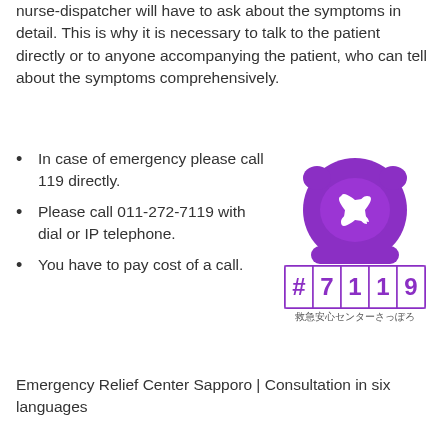nurse-dispatcher will have to ask about the symptoms in detail. This is why it is necessary to talk to the patient directly or to anyone accompanying the patient, who can tell about the symptoms comprehensively.
In case of emergency please call 119 directly.
Please call 011-272-7119 with dial or IP telephone.
You have to pay cost of a call.
[Figure (logo): Purple telephone logo with clover heart symbol and #7119 text with Japanese text 救急安心センターさっぽろ]
Emergency Relief Center Sapporo | Consultation in six languages